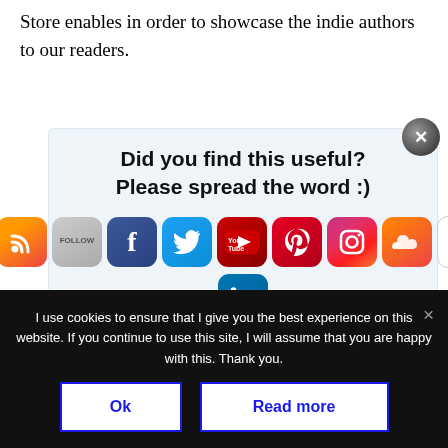Store enables in order to showcase the indie authors to our readers.
[Figure (infographic): Social sharing widget with heading 'Did you find this useful? Please spread the word :)' and social media icons for RSS, Follow, Facebook, Twitter, YouTube, Pinterest, Instagram, SoundCloud, Flickr, and LinkedIn]
at a...
English, in French, and in Italian. So, we may
I use cookies to ensure that I give you the best experience on this website. If you continue to use this site, I will assume that you are happy with this. Thank you.